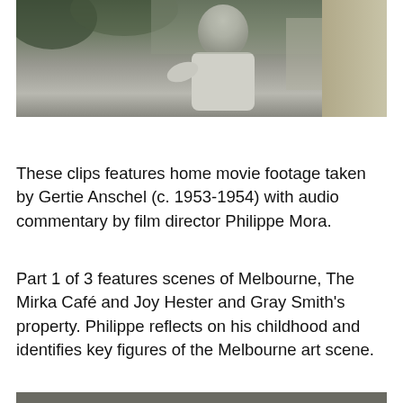[Figure (photo): Black and white/desaturated home movie still showing a figure in light clothing outdoors, with foliage and architectural elements in background]
These clips features home movie footage taken by Gertie Anschel (c. 1953-1954) with audio commentary by film director Philippe Mora.
Part 1 of 3 features scenes of Melbourne, The Mirka Café and Joy Hester and Gray Smith's property. Philippe reflects on his childhood and identifies key figures of the Melbourne art scene.